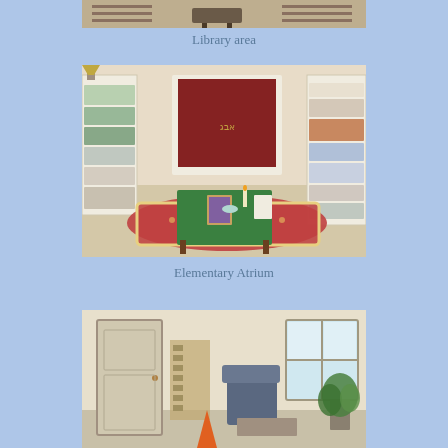[Figure (photo): Top portion of a library area photo, showing shelves and chairs in a classroom or school setting]
Library area
[Figure (photo): Elementary Atrium room with a green-cloth altar table, a red patterned rug, bookshelves with materials on both sides, and a fireplace with dark curtains in the background]
Elementary Atrium
[Figure (photo): Bottom photo showing a room interior with a door, chair, window with natural light, and a plant — partially visible]